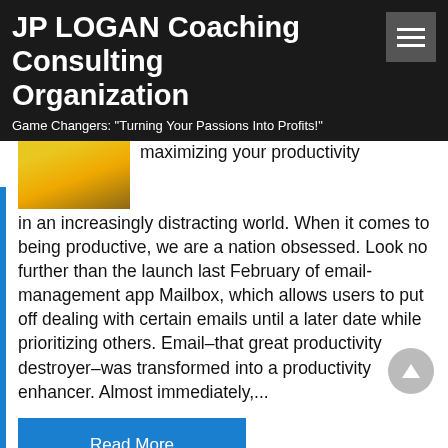JP LOGAN Coaching Consulting Organization
Game Changers: "Turning Your Passions Into Profits!"
[Figure (photo): Partial thumbnail image showing yellow flowers or sunflowers]
maximizing your productivity in an increasingly distracting world. When it comes to being productive, we are a nation obsessed. Look no further than the launch last February of email-management app Mailbox, which allows users to put off dealing with certain emails until a later date while prioritizing others. Email–that great productivity destroyer–was transformed into a productivity enhancer. Almost immediately,...
Read More
Entrepreneur News   business, Entrepreneurs, Productivity, productivity enhancer